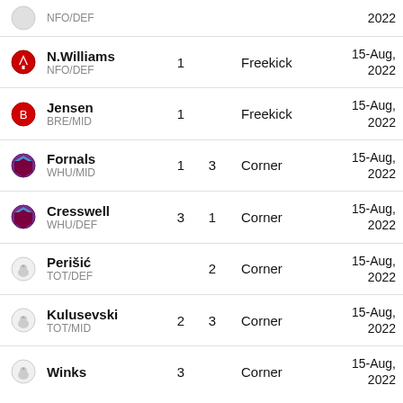| Club | Player | Col1 | Col2 | Type | Date |
| --- | --- | --- | --- | --- | --- |
| NFO/DEF |  |  |  |  | 2022 |
| NFO/DEF | N.Williams | 1 |  | Freekick | 15-Aug, 2022 |
| BRE/MID | Jensen | 1 |  | Freekick | 15-Aug, 2022 |
| WHU/MID | Fornals | 1 | 3 | Corner | 15-Aug, 2022 |
| WHU/DEF | Cresswell | 3 | 1 | Corner | 15-Aug, 2022 |
| TOT/DEF | Perišić |  | 2 | Corner | 15-Aug, 2022 |
| TOT/MID | Kulusevski | 2 | 3 | Corner | 15-Aug, 2022 |
| TOT | Winks | 3 |  | Corner | 15-Aug, 2022 |